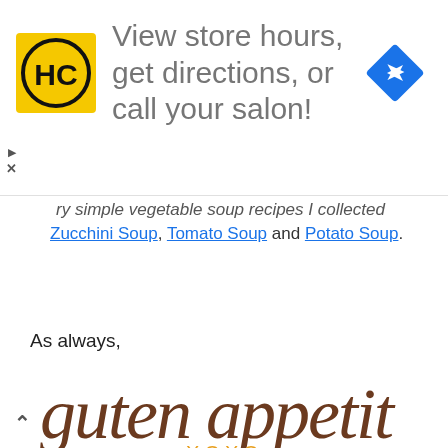[Figure (infographic): Advertisement banner: HC (Hair Club) logo on yellow square, text 'View store hours, get directions, or call your salon!', blue navigation diamond icon on right. Play and close buttons on left side.]
ry simple vegetable soup recipes I collected Zucchini Soup, Tomato Soup and Potato Soup.
As always,
[Figure (illustration): Handwritten-style script signature reading 'guten appetit' in dark brown/chocolate color, with 'XOXO' in orange below it]